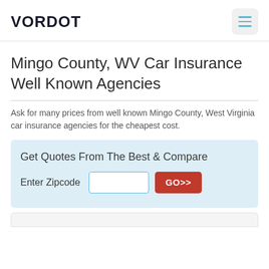VORDOT
Mingo County, WV Car Insurance Well Known Agencies
Ask for many prices from well known Mingo County, West Virginia car insurance agencies for the cheapest cost.
Get Quotes From The Best & Compare
Enter Zipcode  [input]  GO>>